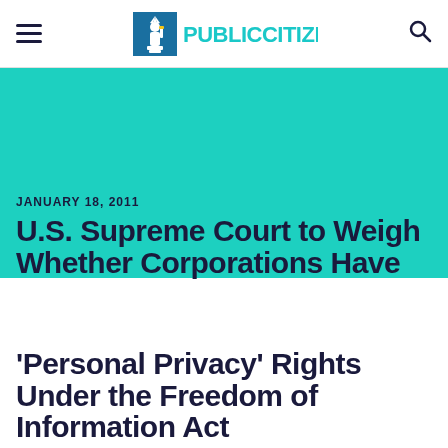Public Citizen
[Figure (logo): Public Citizen logo with Statue of Liberty icon and teal PUBLICCITIZEN wordmark]
JANUARY 18, 2011
U.S. Supreme Court to Weigh Whether Corporations Have 'Personal Privacy' Rights Under the Freedom of Information Act